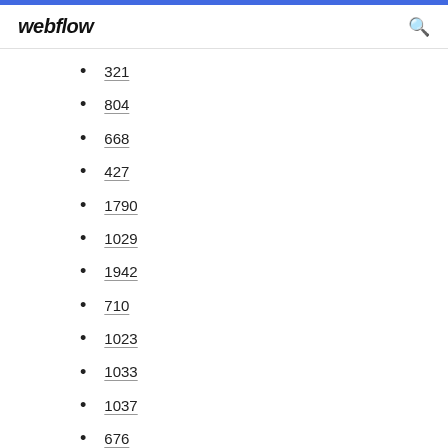webflow
321
804
668
427
1790
1029
1942
710
1023
1033
1037
676